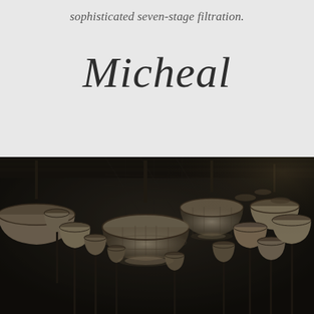sophisticated seven-stage filtration.
Micheal
[Figure (photo): Dark atmospheric interior photograph showing numerous pendant lamp fixtures with woven/grid dome shades hanging from a dark ceiling in what appears to be a restaurant or bar interior. The lamps are clustered together at various heights, creating a dramatic ceiling installation. The scene has a moody, dark ambiance with warm highlights on the lamp shades.]